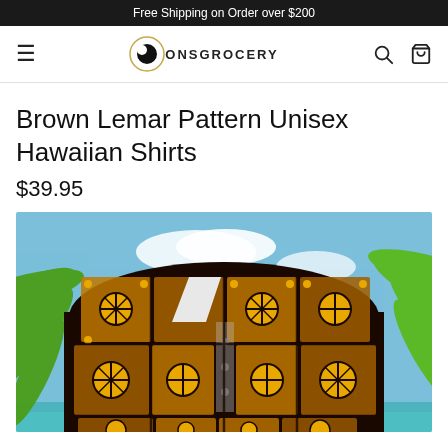Free shipping on order over $200
ONSGROCERY (logo, navigation bar with hamburger, search, and cart icons)
Brown Lemar Pattern Unisex Hawaiian Shirts
$39.95
[Figure (photo): Product image of a Brown Lemar Pattern Unisex Hawaiian Shirt displayed on a tropical background with palm leaves and blue sky. The shirt features a dark brown base with orange/golden geometric and circular African-inspired patterns arranged in a grid-like layout.]